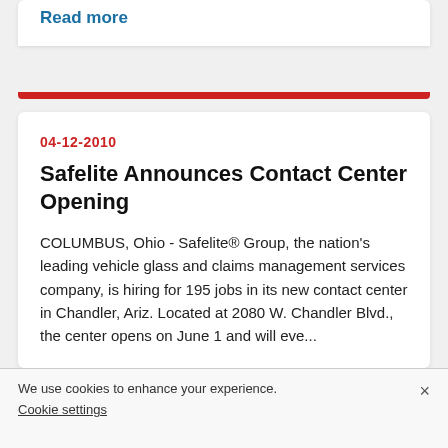Read more
Safelite Announces Contact Center Opening
04-12-2010
COLUMBUS, Ohio - Safelite® Group, the nation's leading vehicle glass and claims management services company, is hiring for 195 jobs in its new contact center in Chandler, Ariz. Located at 2080 W. Chandler Blvd., the center opens on June 1 and will eve...
Read more
We use cookies to enhance your experience.
Cookie settings